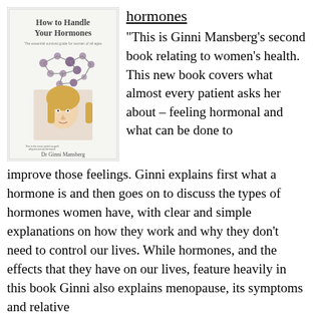[Figure (illustration): Book cover of 'How to Handle Your Hormones' by Dr Ginni Mansberg, showing the title, subtitle 'The essential survival guide for women of all ages', a molecular/chemical structure diagram, and a photo of Dr Ginni Mansberg, a blonde woman.]
hormones
“This is Ginni Mansberg’s second book relating to women’s health. This new book covers what almost every patient asks her about – feeling hormonal and what can be done to improve those feelings. Ginni explains first what a hormone is and then goes on to discuss the types of hormones women have, with clear and simple explanations on how they work and why they don’t need to control our lives. While hormones, and the effects that they have on our lives, feature heavily in this book Ginni also explains menopause, its symptoms and relative